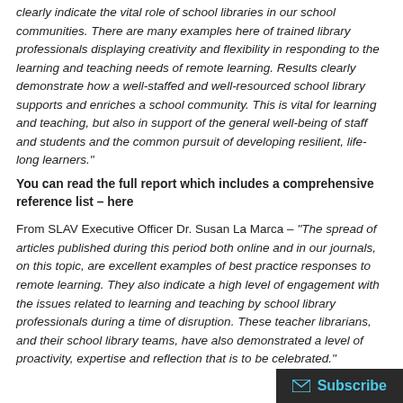clearly indicate the vital role of school libraries in our school communities. There are many examples here of trained library professionals displaying creativity and flexibility in responding to the learning and teaching needs of remote learning. Results clearly demonstrate how a well-staffed and well-resourced school library supports and enriches a school community. This is vital for learning and teaching, but also in support of the general well-being of staff and students and the common pursuit of developing resilient, life-long learners."
You can read the full report which includes a comprehensive reference list – here
From SLAV Executive Officer Dr. Susan La Marca – “The spread of articles published during this period both online and in our journals, on this topic, are excellent examples of best practice responses to remote learning. They also indicate a high level of engagement with the issues related to learning and teaching by school library professionals during a time of disruption. These teacher librarians, and their school library teams, have also demonstrated a level of proactivity, expertise and reflection that is to be celebrated.”
[Figure (other): Subscribe button/banner in bottom-right corner with envelope icon and teal 'Subscribe' text on dark background]